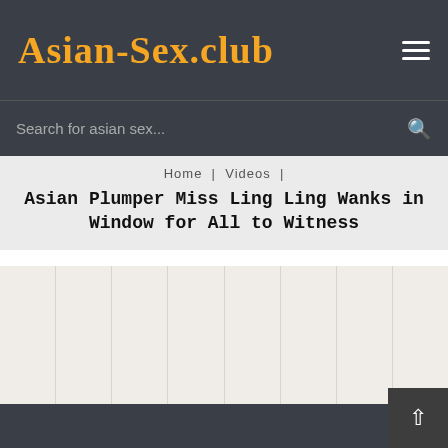Asian-Sex.club
Search for asian sex...
Home | Videos |
Asian Plumper Miss Ling Ling Wanks in Window for All to Witness
[Figure (other): Grid of content columns with light beige background]
Back to top button